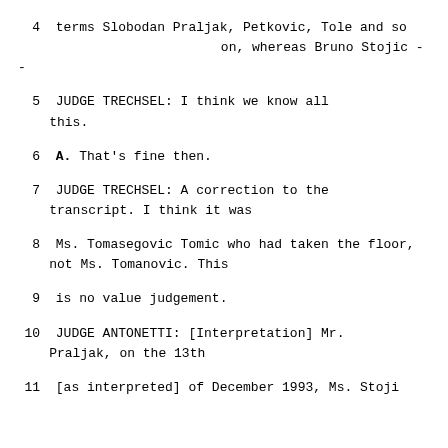4    terms Slobodan Praljak, Petkovic, Tole and so on, whereas Bruno Stojic --
5              JUDGE TRECHSEL:  I think we know all this.
6        A.   That's fine then.
7              JUDGE TRECHSEL:  A correction to the transcript.  I think it was
8        Ms. Tomasegovic Tomic who had taken the floor, not Ms. Tomanovic.  This
9        is no value judgement.
10             JUDGE ANTONETTI:  [Interpretation] Mr. Praljak, on the 13th
11     [as interpreted] of December 1993, Ms. Stoji